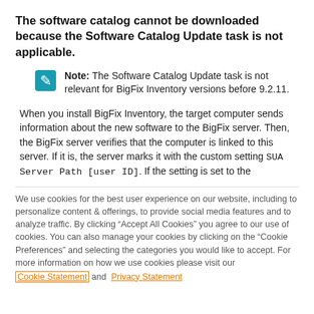The software catalog cannot be downloaded because the Software Catalog Update task is not applicable.
Note: The Software Catalog Update task is not relevant for BigFix Inventory versions before 9.2.11.
When you install BigFix Inventory, the target computer sends information about the new software to the BigFix server. Then, the BigFix server verifies that the computer is linked to this server. If it is, the server marks it with the custom setting SUA Server Path [user ID]. If the setting is set to the
We use cookies for the best user experience on our website, including to personalize content & offerings, to provide social media features and to analyze traffic. By clicking “Accept All Cookies” you agree to our use of cookies. You can also manage your cookies by clicking on the “Cookie Preferences” and selecting the categories you would like to accept. For more information on how we use cookies please visit our Cookie Statement and Privacy Statement